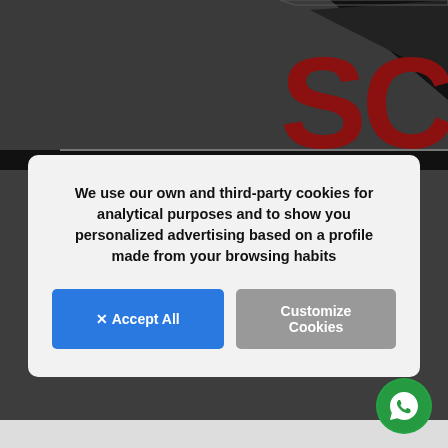[Figure (logo): Partial website logo with large red letters 'SC' and black geometric shape on dark background]
Is your property for sale in Denia, Javea, Calpe, Altea, Moraira, that & Benidorm area? If you want to find the right people, at Holidaydream Real Estate we offer, help and take care of our clients. We are experts in real estate management and experts in the market for the sale and resale of homes.
We use our own and third-party cookies for analytical purposes and to show you personalized advertising based on a profile made from your browsing habits
X Accept All
Customize Cookies
If you want to sell your property and are looking for a trusted real estate agent, you can be sure that we do everything possible to find an adequate buyer in our database of international and national clients.